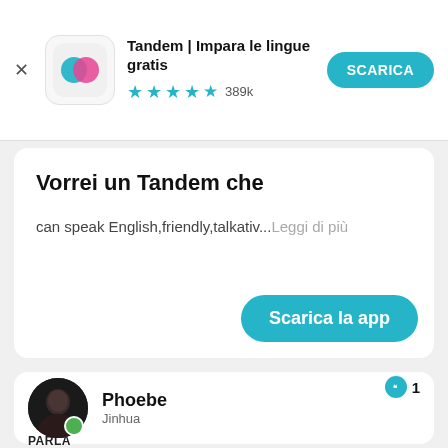[Figure (screenshot): Tandem app banner with logo icon, app name 'Tandem | Impara le lingue gratis', star rating 389k, and SCARICA button]
Vorrei un Tandem che
can speak English,friendly,talkativ...Leggi di più
Scarica la app
Phoebe
Jinhua
1
PARLA